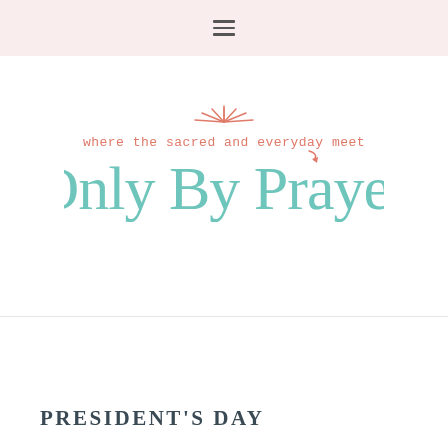[Figure (logo): Hamburger menu icon (three horizontal lines) on a pink/blush background header bar]
[Figure (logo): Only By Prayer logo — tagline 'where the sacred and everyday meet' in coral/salmon script above large teal/turquoise text 'Only By Prayer' with a sunburst/rays graphic above the tagline]
PRESIDENT'S DAY